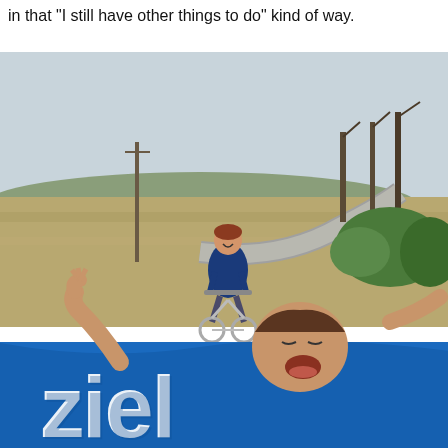in that "I still have other things to do" kind of way.
[Figure (photo): Outdoor scene on a path. In the background, a person riding a small bicycle/scooter approaches, smiling, wearing a dark blue jacket. In the foreground, a person breaks through a blue finish-line banner reading 'Ziel' (German for 'goal/finish'), arms raised, mouth open in excitement. The scene appears to be a race finish scenario.]